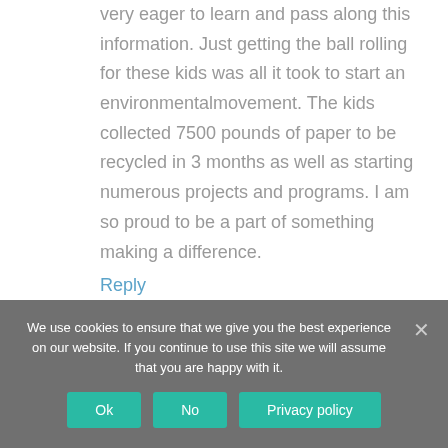very eager to learn and pass along this information. Just getting the ball rolling for these kids was all it took to start an environmental movement. The kids collected 7500 pounds of paper to be recycled in 3 months as well as starting numerous projects and programs. I am so proud to be a part of something making a difference.
Reply
We use cookies to ensure that we give you the best experience on our website. If you continue to use this site we will assume that you are happy with it.